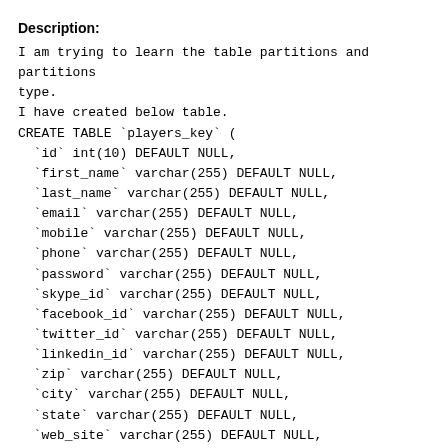Description:
I am trying to learn the table partitions and partitions type.
I have created below table.
CREATE TABLE `players_key` (
  `id` int(10) DEFAULT NULL,
  `first_name` varchar(255) DEFAULT NULL,
  `last_name` varchar(255) DEFAULT NULL,
  `email` varchar(255) DEFAULT NULL,
  `mobile` varchar(255) DEFAULT NULL,
  `phone` varchar(255) DEFAULT NULL,
  `password` varchar(255) DEFAULT NULL,
  `skype_id` varchar(255) DEFAULT NULL,
  `facebook_id` varchar(255) DEFAULT NULL,
  `twitter_id` varchar(255) DEFAULT NULL,
  `linkedin_id` varchar(255) DEFAULT NULL,
  `zip` varchar(255) DEFAULT NULL,
  `city` varchar(255) DEFAULT NULL,
  `state` varchar(255) DEFAULT NULL,
  `web_site` varchar(255) DEFAULT NULL,
  `height` varchar(255) DEFAULT NULL,
  `weight` varchar(255) DEFAULT NULL,
  `profile_status` varchar(255) DEFAULT NULL,
  `address` text,